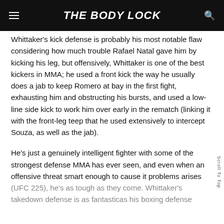THE BODY LOCK
Whittaker's kick defense is probably his most notable flaw considering how much trouble Rafael Natal gave him by kicking his leg, but offensively, Whittaker is one of the best kickers in MMA; he used a front kick the way he usually does a jab to keep Romero at bay in the first fight, exhausting him and obstructing his bursts, and used a low-line side kick to work him over early in the rematch (linking it with the front-leg teep that he used extensively to intercept Souza, as well as the jab).
He's just a genuinely intelligent fighter with some of the strongest defense MMA has ever seen, and even when an offensive threat smart enough to cause it problems arises (UFC 225), he's as tough as they come. Whittaker's takedown defense is as fantasticas his boxing defense